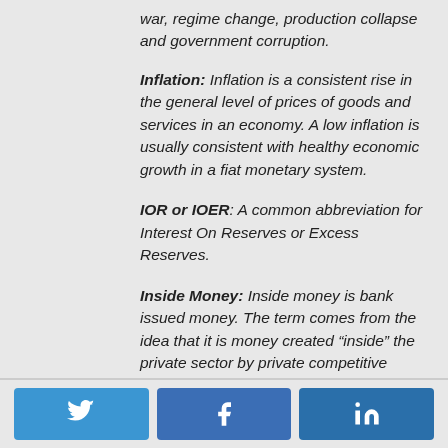war, regime change, production collapse and government corruption.
Inflation: Inflation is a consistent rise in the general level of prices of goods and services in an economy. A low inflation is usually consistent with healthy economic growth in a fiat monetary system.
IOR or IOER: A common abbreviation for Interest On Reserves or Excess Reserves.
Inside Money: Inside money is bank issued money. The term comes from the idea that it is money created “inside” the private sector by private competitive banks.*
[Figure (other): Social media share buttons for Twitter, Facebook, and LinkedIn]